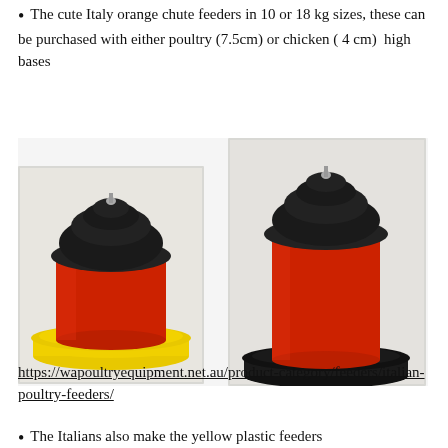The cute Italy orange chute feeders in 10 or 18 kg sizes, these can be purchased with either poultry (7.5cm) or chicken ( 4 cm)  high bases
[Figure (photo): Two Italian orange chute feeders side by side. Left feeder has a yellow base/tray and black lid, shorter. Right feeder has a black base/tray and black lid, taller. Both have red/orange cylindrical bodies.]
https://wapoultryequipment.net.au/product-category/feeders/italian-poultry-feeders/
The Italians also make the yellow plastic feeders